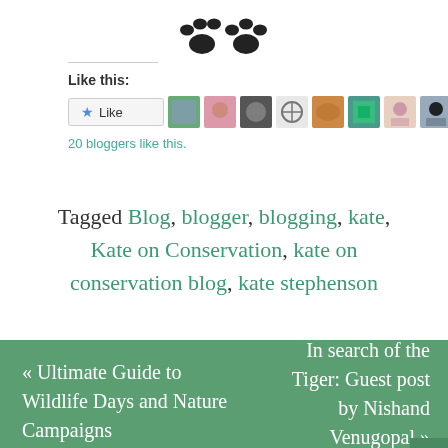[Figure (illustration): Two black paw print icons at the top center of the page]
Like this:
[Figure (screenshot): WordPress Like button with star icon and 10 blogger avatar thumbnails in a row, followed by '20 bloggers like this.']
Tagged Blog, blogger, blogging, kate, Kate on Conservation, kate on conservation blog, kate stephenson
« Ultimate Guide to Wildlife Days and Nature Campaigns
In search of the Tiger: Guest post by Nishand Venugopal »